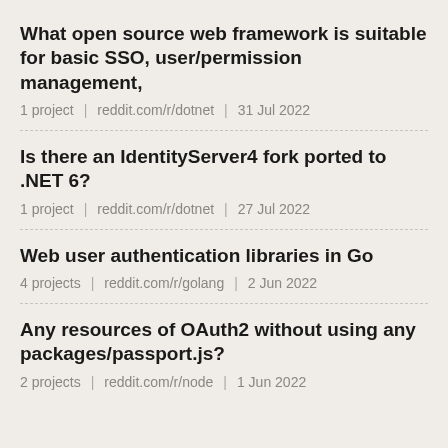What open source web framework is suitable for basic SSO, user/permission management,
1 project | reddit.com/r/dotnet | 31 Jul 2022
Is there an IdentityServer4 fork ported to .NET 6?
1 project | reddit.com/r/dotnet | 27 Jul 2022
Web user authentication libraries in Go
4 projects | reddit.com/r/golang | 2 Jun 2022
Any resources of OAuth2 without using any packages/passport.js?
2 projects | reddit.com/r/node | 1 Jun 2022